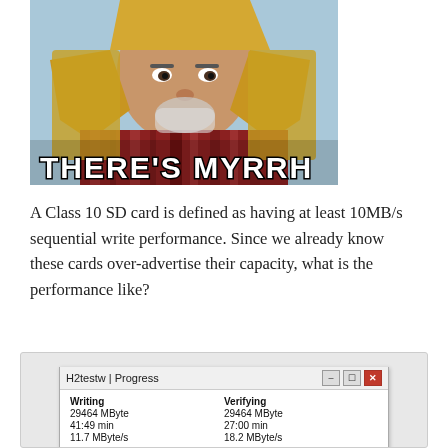[Figure (photo): Meme image of a man dressed in Middle Eastern costume with the caption 'THERE'S MYRRH' in bold white text with black outline at the bottom of the image.]
A Class 10 SD card is defined as having at least 10MB/s sequential write performance. Since we already know these cards over-advertise their capacity, what is the performance like?
[Figure (screenshot): Screenshot of H2testw application showing Progress dialog. Writing: 29464 MByte, 41:49 min, 11.7 MByte/s. Verifying: 29464 MByte, 27:00 min, 18.2 MByte/s. Status: Test finished without errors. You can now delete the test files *.h2w or verify them again.]